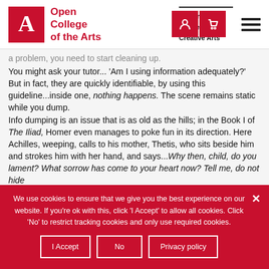[Figure (logo): Open College of the Arts logo with red square containing white A, red text 'Open College of the Arts', University for the Creative Arts text, and hamburger menu icon]
a problem, you need to start cleaning up. You might ask your tutor... 'Am I using information adequately?' But in fact, they are quickly identifiable, by using this guideline...inside one, nothing happens. The scene remains static while you dump. Info dumping is an issue that is as old as the hills; in the Book I of The Iliad, Homer even manages to poke fun in its direction. Here Achilles, weeping, calls to his mother, Thetis, who sits beside him and strokes him with her hand, and says...Why then, child, do you lament? What sorrow has come to your heart now? Tell me, do not hide
We use cookies to ensure that we give you the best experience on our website. If you're ok with this, click 'I Accept' to allow all cookies. Click 'No' to restrict tracking cookies and only use required cookies.
I Accept
No
Privacy policy